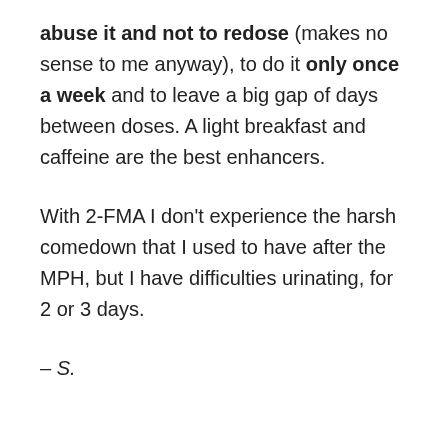abuse it and not to redose (makes no sense to me anyway), to do it only once a week and to leave a big gap of days between doses. A light breakfast and caffeine are the best enhancers.
With 2-FMA I don't experience the harsh comedown that I used to have after the MPH, but I have difficulties urinating, for 2 or 3 days.
– S.